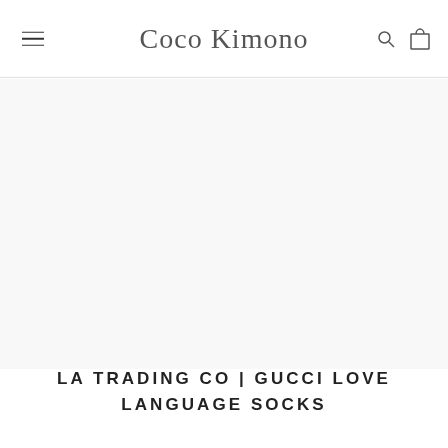Coco Kimono
[Figure (other): Large empty/white product image area placeholder]
LA TRADING CO | GUCCI LOVE LANGUAGE SOCKS